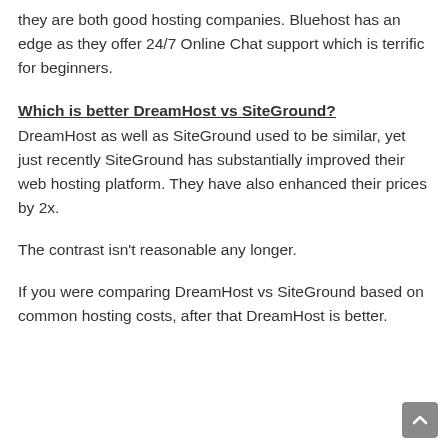they are both good hosting companies. Bluehost has an edge as they offer 24/7 Online Chat support which is terrific for beginners.
Which is better DreamHost vs SiteGround?
DreamHost as well as SiteGround used to be similar, yet just recently SiteGround has substantially improved their web hosting platform. They have also enhanced their prices by 2x.
The contrast isn't reasonable any longer.
If you were comparing DreamHost vs SiteGround based on common hosting costs, after that DreamHost is better.